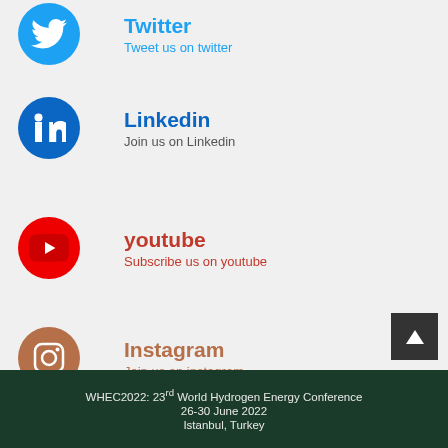[Figure (illustration): Twitter bird icon in blue circle]
Twitter
Tweet us on twitter
[Figure (illustration): LinkedIn 'in' icon in blue circle]
Linkedin
Join us on Linkedin
[Figure (illustration): YouTube play button icon in red circle]
youtube
Subscribe us on youtube
[Figure (illustration): Instagram camera icon in brown circle]
Instagram
Join us on instagram
WHEC2022: 23rd World Hydrogen Energy Conference
26-30 June 2022
Istanbul, Turkey